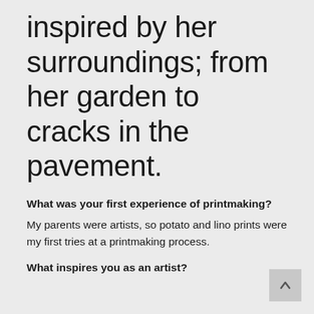inspired by her surroundings; from her garden to cracks in the pavement.
What was your first experience of printmaking?
My parents were artists, so potato and lino prints were my first tries at a printmaking process.
What inspires you as an artist?